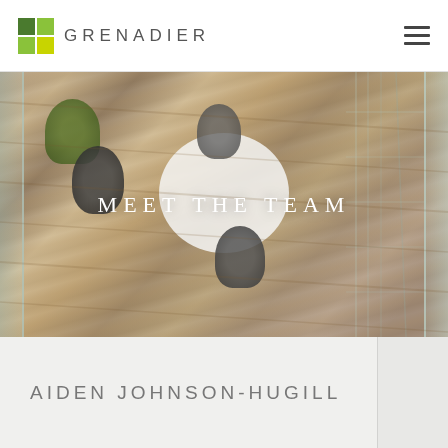GRENADIER
[Figure (photo): Aerial/overhead view of people sitting around a round white table in an office with wooden floors, glass railings visible. Text overlay reads MEET THE TEAM.]
MEET THE TEAM
AIDEN JOHNSON-HUGILL